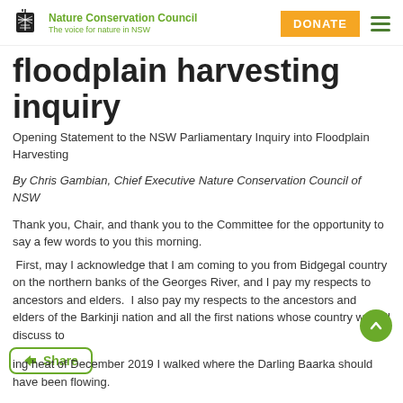Nature Conservation Council — The voice for nature in NSW — DONATE
floodplain harvesting inquiry
Opening Statement to the NSW Parliamentary Inquiry into Floodplain Harvesting
By Chris Gambian, Chief Executive Nature Conservation Council of NSW
Thank you, Chair, and thank you to the Committee for the opportunity to say a few words to you this morning.
First, may I acknowledge that I am coming to you from Bidgegal country on the northern banks of the Georges River, and I pay my respects to ancestors and elders. I also pay my respects to the ancestors and elders of the Barkinji nation and all the first nations whose country we will discuss to
ing heat of December 2019 I walked where the Darling Baarka should have been flowing.